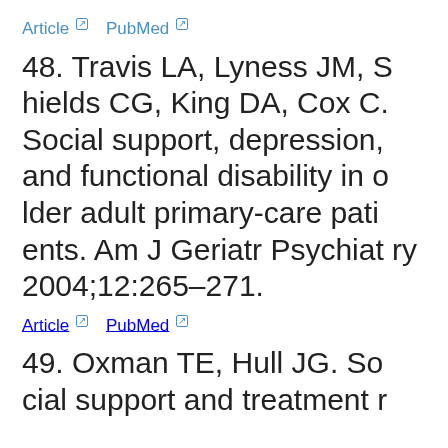Article ↗   PubMed ↗
48. Travis LA, Lyness JM, Shields CG, King DA, Cox C. Social support, depression, and functional disability in older adult primary-care patients. Am J Geriatr Psychiatry 2004;12:265–271.
Article ↗   PubMed ↗
49. Oxman TE, Hull JG. Social support and treatment r